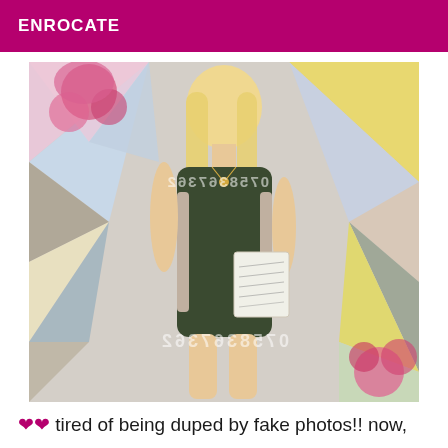ENROCATE
[Figure (photo): A blonde woman in a dark green sleeveless bodycon dress with cutout sides, posing in front of a colorful geometric background with pink flower decorations. She holds a notepad. Watermark text '0758367362' appears mirrored across the image in two places.]
❤❤ tired of being duped by fake photos!! now,